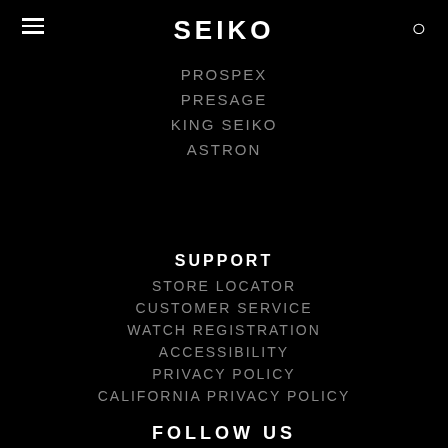SEIKO
PROSPEX
PRESAGE
KING SEIKO
ASTRON
SUPPORT
STORE LOCATOR
CUSTOMER SERVICE
WATCH REGISTRATION
ACCESSIBILITY
PRIVACY POLICY
CALIFORNIA PRIVACY POLICY
FOLLOW US